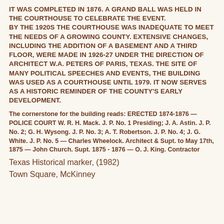IT WAS COMPLETED IN 1876. A GRAND BALL WAS HELD IN THE COURTHOUSE TO CELEBRATE THE EVENT. BY THE 1920S THE COURTHOUSE WAS INADEQUATE TO MEET THE NEEDS OF A GROWING COUNTY. EXTENSIVE CHANGES, INCLUDING THE ADDITION OF A BASEMENT AND A THIRD FLOOR, WERE MADE IN 1926-27 UNDER THE DIRECTION OF ARCHITECT W.A. PETERS OF PARIS, TEXAS. THE SITE OF MANY POLITICAL SPEECHES AND EVENTS, THE BUILDING WAS USED AS A COURTHOUSE UNTIL 1979. IT NOW SERVES AS A HISTORIC REMINDER OF THE COUNTY'S EARLY DEVELOPMENT.
The cornerstone for the building reads: ERECTED 1874-1876 — POLICE COURT W. R. H. Mack. J. P. No. 1 Presiding; J. A. Astin. J. P. No. 2; G. H. Wysong. J. P. No. 3; A. T. Robertson. J. P. No. 4; J. G. White. J. P. No. 5 — Charles Wheelock. Architect & Supt. to May 17th, 1875 — John Church. Supt. 1875 - 1876 — O. J. King. Contractor
Texas Historical marker, (1982)
Town Square, McKinney